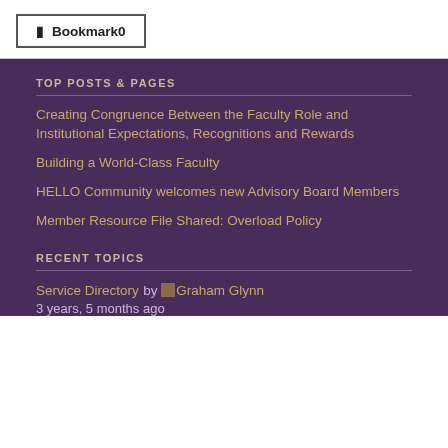[Figure (other): Bookmark button with bookmark icon and label 'Bookmark0']
TOP POSTS & PAGES
Creating Congruence Between the Faculty Role and Institutional Expectations, Recognitions and Rewards
Building a World-Class Faculty
HELLO Community welcomes new Advisory Board Members
Member Resource File Shared: Overload Policy
RECENT TOPICS
Service Directory by Graham Glynn
3 years, 5 months ago